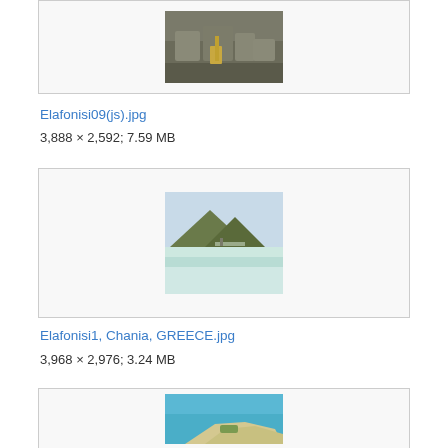[Figure (photo): Partial view of rocky shore photo at top of page]
Elafonisi09(js).jpg
3,888 × 2,592; 7.59 MB
[Figure (photo): Photo of beach lagoon with mountain in background, shallow turquoise water, Elafonisi, Crete]
Elafonisi1, Chania, GREECE.jpg
3,968 × 2,976; 3.24 MB
[Figure (photo): Partial aerial photo of Elafonisi island with turquoise water visible at bottom of page]